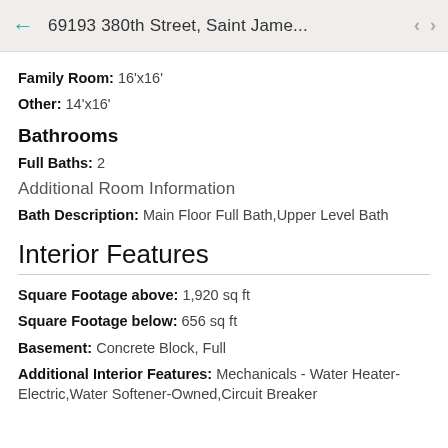69193 380th Street, Saint Jame...
Family Room: 16'x16'
Other: 14'x16'
Bathrooms
Full Baths: 2
Additional Room Information
Bath Description: Main Floor Full Bath,Upper Level Bath
Interior Features
Square Footage above: 1,920 sq ft
Square Footage below: 656 sq ft
Basement: Concrete Block, Full
Additional Interior Features: Mechanicals - Water Heater-Electric,Water Softener-Owned,Circuit Breaker